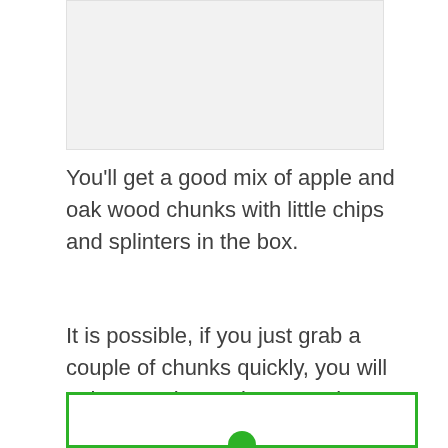[Figure (other): Light gray rectangular image placeholder area at the top of the page]
You'll get a good mix of apple and oak wood chunks with little chips and splinters in the box.
It is possible, if you just grab a couple of chunks quickly, you will only get oak or only get apple.
[Figure (other): Green bordered box at the bottom with a green circle partially visible at the bottom center]